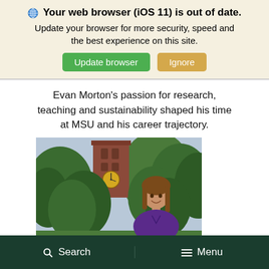🌐 Your web browser (iOS 11) is out of date. Update your browser for more security, speed and the best experience on this site. [Update browser] [Ignore]
Evan Morton's passion for research, teaching and sustainability shaped his time at MSU and his career trajectory.
[Figure (photo): A smiling woman with long brown hair wearing a purple shirt, standing outdoors in front of green trees and a brick clock tower (MSU campus).]
Search   Menu